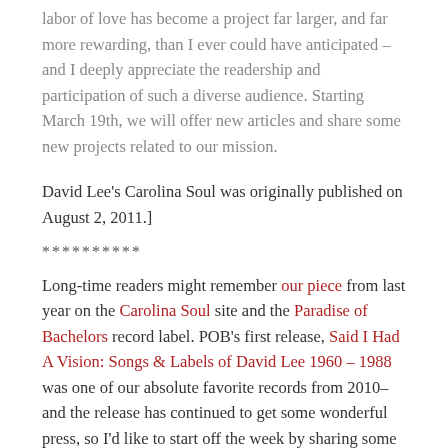labor of love has become a project far larger, and far more rewarding, than I ever could have anticipated – and I deeply appreciate the readership and participation of such a diverse audience. Starting March 19th, we will offer new articles and share some new projects related to our mission.
David Lee's Carolina Soul was originally published on August 2, 2011.]
**********
Long-time readers might remember our piece from last year on the Carolina Soul site and the Paradise of Bachelors record label. POB's first release, Said I Had A Vision: Songs & Labels of David Lee 1960 – 1988 was one of our absolute favorite records from 2010–and the release has continued to get some wonderful press, so I'd like to start off the week by sharing some of this information. If we've hit the summer doldrums (August), this